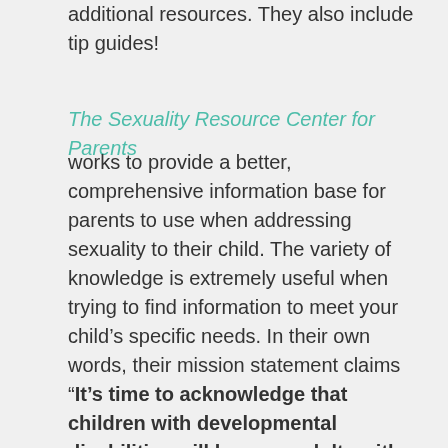additional resources. They also include tip guides!
The Sexuality Resource Center for Parents
works to provide a better, comprehensive information base for parents to use when addressing sexuality to their child. The variety of knowledge is extremely useful when trying to find information to meet your child’s specific needs. In their own words, their mission statement claims “It’s time to acknowledge that children with developmental disabilities will become adults with sexual feelings, and as such, we must provide them with the information and skills they’ll need to become sexually healthy adults.”